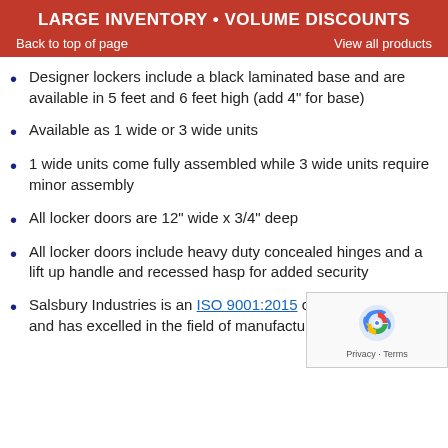LARGE INVENTORY • VOLUME DISCOUNTS
Back to top of page    View all products
Designer lockers include a black laminated base and are available in 5 feet and 6 feet high (add 4" for base)
Available as 1 wide or 3 wide units
1 wide units come fully assembled while 3 wide units require minor assembly
All locker doors are 12" wide x 3/4" deep
All locker doors include heavy duty concealed hinges and a lift up handle and recessed hasp for added security
Salsbury Industries is an ISO 9001:2015 certified company and has excelled in the field of manufacturing since 1936